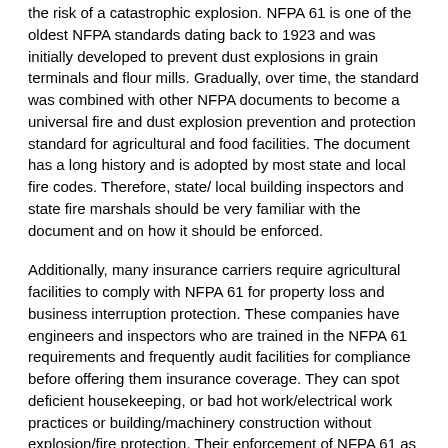the risk of a catastrophic explosion. NFPA 61 is one of the oldest NFPA standards dating back to 1923 and was initially developed to prevent dust explosions in grain terminals and flour mills. Gradually, over time, the standard was combined with other NFPA documents to become a universal fire and dust explosion prevention and protection standard for agricultural and food facilities. The document has a long history and is adopted by most state and local fire codes. Therefore, state/ local building inspectors and state fire marshals should be very familiar with the document and on how it should be enforced.
Additionally, many insurance carriers require agricultural facilities to comply with NFPA 61 for property loss and business interruption protection. These companies have engineers and inspectors who are trained in the NFPA 61 requirements and frequently audit facilities for compliance before offering them insurance coverage. They can spot deficient housekeeping, or bad hot work/electrical work practices or building/machinery construction without explosion/fire protection. Their enforcement of NFPA 61 as an authority having jurisdiction can greatly reduce the risk of an explosion or fire.
With these three layers of protection; the OSHA Grain Handling Standard, State Fire Codes that adopt NFPA 61